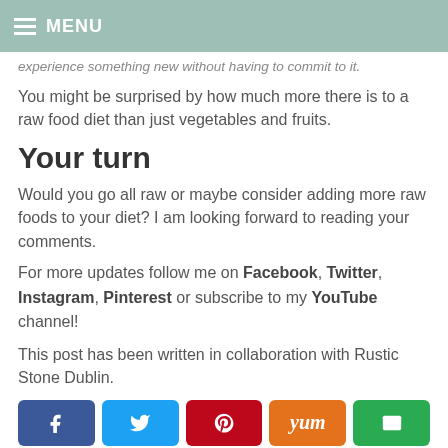MENU
experience something new without having to commit to it.
You might be surprised by how much more there is to a raw food diet than just vegetables and fruits.
Your turn
Would you go all raw or maybe consider adding more raw foods to your diet? I am looking forward to reading your comments.
For more updates follow me on Facebook, Twitter, Instagram, Pinterest or subscribe to my YouTube channel!
This post has been written in collaboration with Rustic Stone Dublin.
[Figure (infographic): Social media share buttons: Facebook (blue), Twitter (light blue), Pinterest (red), Yummly (orange), Email (green)]